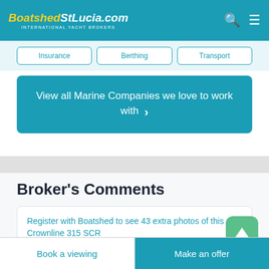BoatshedStLucia.com INTERNATIONAL YACHT BROKERS
Insurance
Berthing
Transport
View all Marine Companies we love to work with >
Broker's Comments
Register with Boatshed to see 43 extra photos of this Crownline 315 SCR
The Crownline 315 SCR is a popular boat. It
Book a viewing
Make an offer